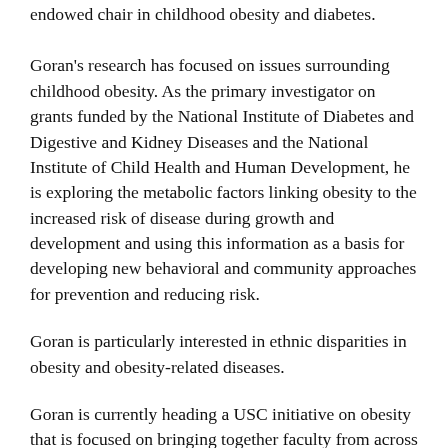endowed chair in childhood obesity and diabetes.
Goran's research has focused on issues surrounding childhood obesity. As the primary investigator on grants funded by the National Institute of Diabetes and Digestive and Kidney Diseases and the National Institute of Child Health and Human Development, he is exploring the metabolic factors linking obesity to the increased risk of disease during growth and development and using this information as a basis for developing new behavioral and community approaches for prevention and reducing risk.
Goran is particularly interested in ethnic disparities in obesity and obesity-related diseases.
Goran is currently heading a USC initiative on obesity that is focused on bringing together faculty from across all disciplines and campuses. In addition to having published nearly 200 peer-reviewed journal articles, Goran also was the developer and executive producer of an interactive computer game that promotes physical activity in